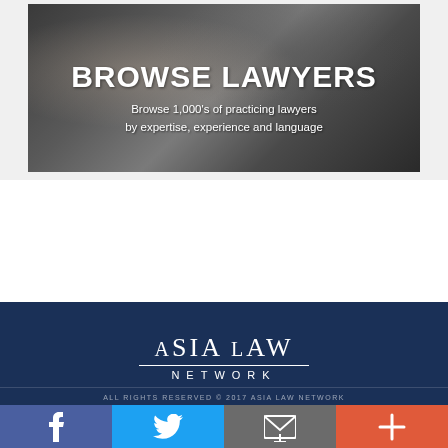[Figure (photo): Photo of two lawyers (a smiling woman and a man in suits) with text overlay: BROWSE LAWYERS / Browse 1,000's of practicing lawyers by expertise, experience and language]
BROWSE LAWYERS
Browse 1,000's of practicing lawyers by expertise, experience and language
[Figure (logo): Asia Law Network logo in white text on dark blue background: ASIA LAW NETWORK]
ALL RIGHTS RESERVED © 2017 ASIA LAW NETWORK